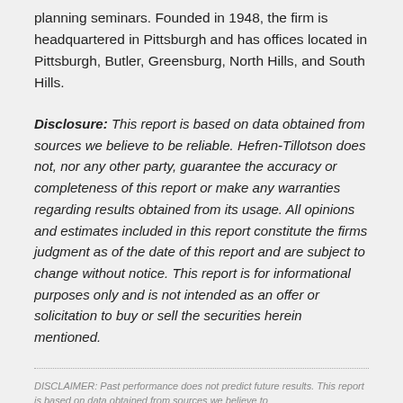planning seminars. Founded in 1948, the firm is headquartered in Pittsburgh and has offices located in Pittsburgh, Butler, Greensburg, North Hills, and South Hills.
Disclosure: This report is based on data obtained from sources we believe to be reliable. Hefren-Tillotson does not, nor any other party, guarantee the accuracy or completeness of this report or make any warranties regarding results obtained from its usage. All opinions and estimates included in this report constitute the firms judgment as of the date of this report and are subject to change without notice. This report is for informational purposes only and is not intended as an offer or solicitation to buy or sell the securities herein mentioned.
DISCLAIMER: Past performance does not predict future results. This report is based on data obtained from sources we believe to